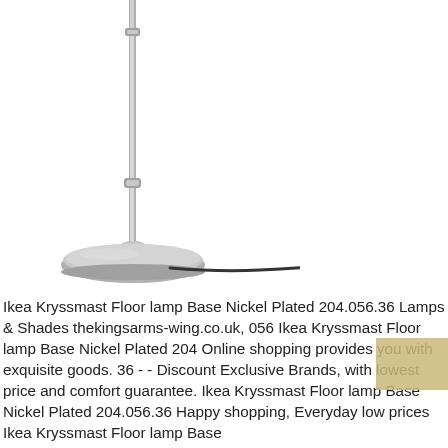[Figure (photo): A floor lamp base with a nickel-plated finish. The lamp shows a long vertical pole attached to a round flat circular base. A black power cord extends from the base. The upper part of the lamp (shade) is cut off at the top of the image.]
Ikea Kryssmast Floor lamp Base Nickel Plated 204.056.36 Lamps & Shades thekingsarms-wing.co.uk, 056 Ikea Kryssmast Floor lamp Base Nickel Plated 204 Online shopping provides you with exquisite goods. 36 - - Discount Exclusive Brands, with lowest price and comfort guarantee. Ikea Kryssmast Floor lamp Base Nickel Plated 204.056.36 Happy shopping, Everyday low prices Ikea Kryssmast Floor lamp Base